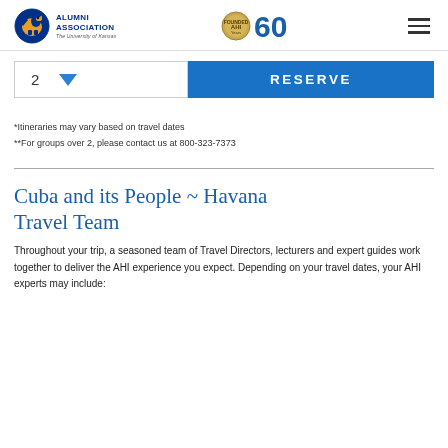KU Alumni Association | AHI 60 Years of Excellence
[Figure (screenshot): Reserve section with number selector showing '2' and dropdown arrow, alongside a blue RESERVE button]
*Itineraries may vary based on travel dates
**For groups over 2, please contact us at 800-323-7373
Cuba and its People ~ Havana Travel Team
Throughout your trip, a seasoned team of Travel Directors, lecturers and expert guides work together to deliver the AHI experience you expect. Depending on your travel dates, your AHI experts may include: